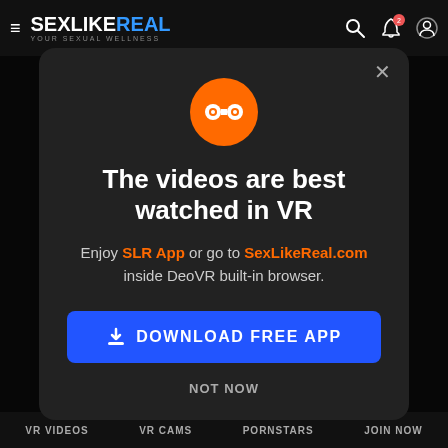SexLikeReal — YOUR SEXUAL WELLNESS
[Figure (screenshot): Website header with hamburger menu, SexLikeReal logo, search icon, notification icon with badge, and user icon]
[Figure (infographic): Modal dialog popup with orange VR goggles icon, title 'The videos are best watched in VR', subtitle with SLR App and SexLikeReal.com links, blue download button, and NOT NOW link]
The videos are best watched in VR
Enjoy SLR App or go to SexLikeReal.com inside DeoVR built-in browser.
DOWNLOAD FREE APP
NOT NOW
VR VIDEOS   VR CAMS   PORNSTARS   JOIN NOW